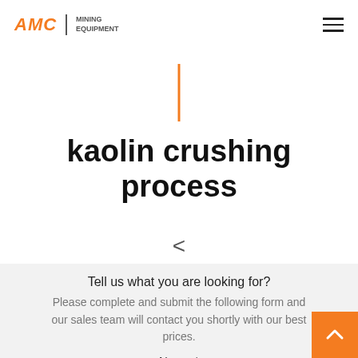AMC | MINING EQUIPMENT
[Figure (other): Orange vertical decorative bar separator]
kaolin crushing process
<
Tell us what you are looking for?
Please complete and submit the following form and our sales team will contact you shortly with our best prices.
Name:*